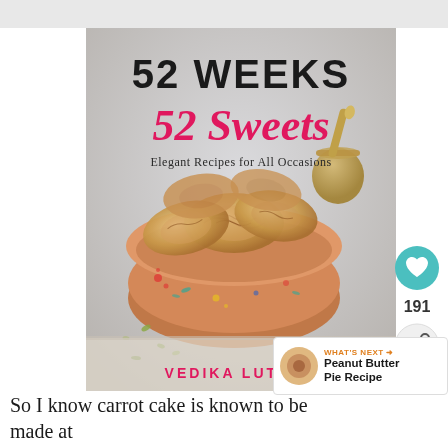[Figure (illustration): Book cover of '52 Weeks 52 Sweets: Elegant Recipes for All Occasions' by Vedika Luthra, showing palmier pastries in a decorative bowl, with a gold mortar and pestle in background]
[Figure (infographic): Side panel UI with heart/like button (teal circle), count of 191, and share button]
[Figure (infographic): What's Next panel with thumbnail and text: 'Peanut Butter Pie Recipe']
So I know carrot cake is known to be made at